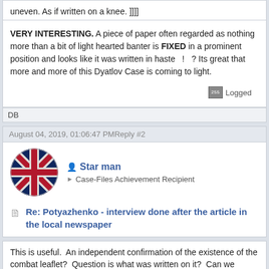uneven. As if written on a knee. ]]]]
VERY INTERESTING. A piece of paper often regarded as nothing more than a bit of light hearted banter is FIXED in a prominent position and looks like it was written in haste  !  ? Its great that more and more of this Dyatlov Case is coming to light.
Logged
DB
August 04, 2019, 01:06:47 PMReply #2
Star man
Case-Files Achievement Recipient
Re: Potyazhenko - interview done after the article in the local newspaper
This is useful.  An independent confirmation of the existence of the combat leaflet?  Question is what was written on it?  Can we assume that the transcribed version is what was accurately written?